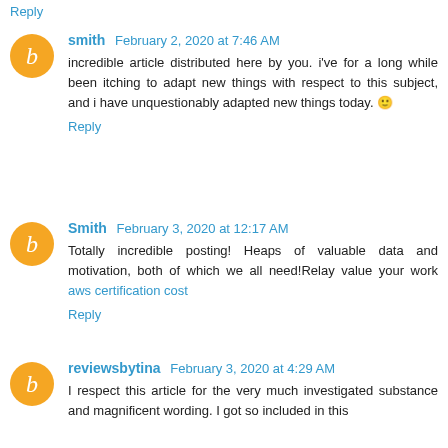Reply
smith   February 2, 2020 at 7:46 AM
incredible article distributed here by you. i've for a long while been itching to adapt new things with respect to this subject, and i have unquestionably adapted new things today. 🙂
Reply
Smith   February 3, 2020 at 12:17 AM
Totally incredible posting! Heaps of valuable data and motivation, both of which we all need!Relay value your work aws certification cost
Reply
reviewsbytina   February 3, 2020 at 4:29 AM
I respect this article for the very much investigated substance and magnificent wording. I got so included in this